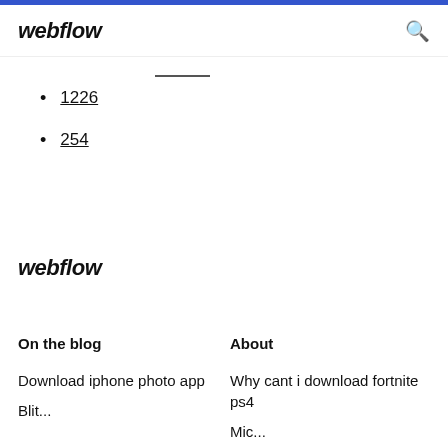webflow
1226
254
webflow
On the blog
About
Download iphone photo app
Why cant i download fortnite ps4
Blit...
Mic...